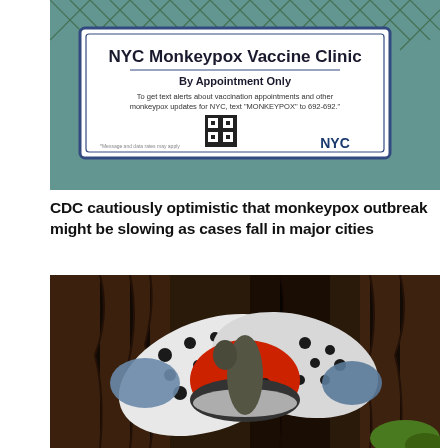[Figure (photo): Photo of a sign on a chain-link fence reading 'NYC Monkeypox Vaccine Clinic – By Appointment Only' with QR code and NYC logo]
CDC cautiously optimistic that monkeypox outbreak might be slowing as cases fall in major cities
[Figure (photo): Close-up photo of a spotted lanternfly with red and black wings resting on tree bark]